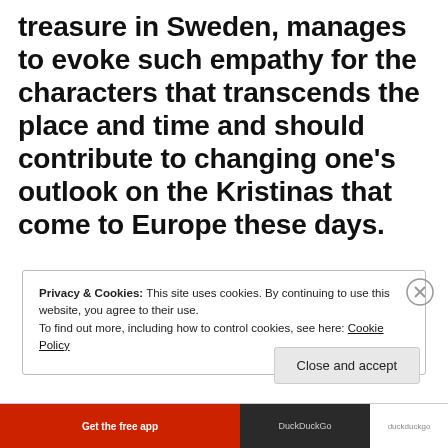treasure in Sweden, manages to evoke such empathy for the characters that transcends the place and time and should contribute to changing one's outlook on the Kristinas that come to Europe these days.
Privacy & Cookies: This site uses cookies. By continuing to use this website, you agree to their use.
To find out more, including how to control cookies, see here: Cookie Policy
Close and accept